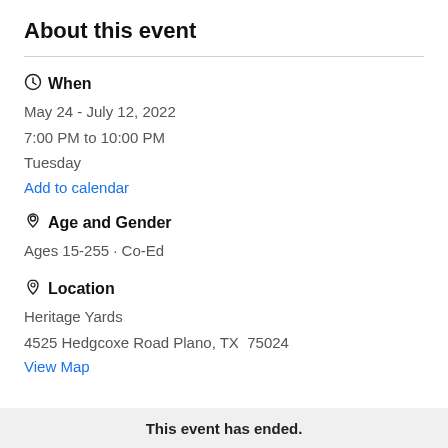About this event
When
May 24 - July 12, 2022
7:00 PM to 10:00 PM
Tuesday
Add to calendar
Age and Gender
Ages 15-255 · Co-Ed
Location
Heritage Yards
4525 Hedgcoxe Road Plano, TX  75024
View Map
This event has ended.